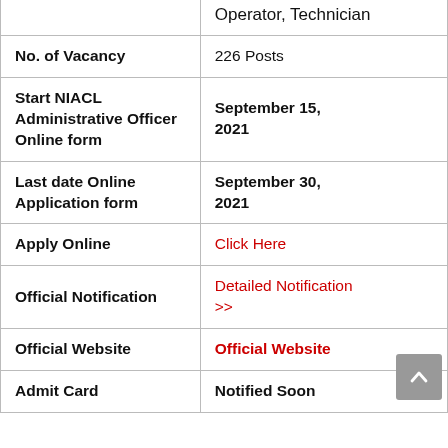|  | Operator, Technician |
| No. of Vacancy | 226 Posts |
| Start NIACL Administrative Officer Online form | September 15, 2021 |
| Last date Online Application form | September 30, 2021 |
| Apply Online | Click Here |
| Official Notification | Detailed Notification >> |
| Official Website | Official Website |
| Admit Card | Notified Soon |